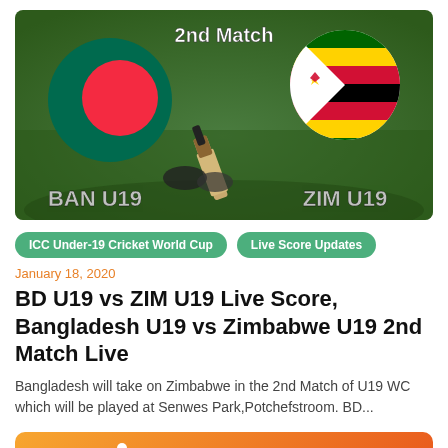[Figure (photo): Cricket match promotional image showing Bangladesh U19 vs Zimbabwe U19 2nd Match. Two circular country flag icons (Bangladesh left, Zimbabwe right) on a green cricket ground background with a cricket bat. Text overlays: '2nd Match' at top center, 'BAN U19' at bottom left, 'ZIM U19' at bottom right.]
ICC Under-19 Cricket World Cup
Live Score Updates
January 18, 2020
BD U19 vs ZIM U19 Live Score, Bangladesh U19 vs Zimbabwe U19 2nd Match Live
Bangladesh will take on Zimbabwe in the 2nd Match of U19 WC which will be played at Senwes Park,Potchefstroom. BD...
[Figure (logo): CricTribune logo on an orange gradient banner background. White cricket player icon followed by white text 'CRICTRIBUNE'.]